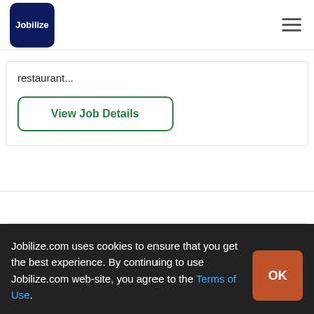[Figure (logo): Jobilize logo: dark navy blue rounded square with white text 'Jobilize']
restaurant...
View Job Details
Jobilize.com uses cookies to ensure that you get the best experience. By continuing to use Jobilize.com web-site, you agree to the Terms of Use.
OK